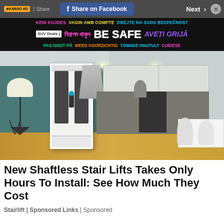KARGO AD | Share on Facebook | Next
[Figure (infographic): Multilingual safety awareness banner with text: KENI KUJDES VAGIN AMB COMPTE DBEJTE NA SVOU BEZPECNOST / নিরাপদ থাকুন BE SAFE AVETI GRIJA / PAS GODT PÅ WEES VOORZICHTIG TOIMIGE OHUTULT CUIDESE]
[Figure (photo): Home elevator / shaftless stairlift installed in a modern kitchen with teal walls, wood floor, floor lamp, kitchen cabinets, and dining area]
New Shaftless Stair Lifts Takes Only Hours To Install: See How Much They Cost
Stairlift | Sponsored Links | Sponsored